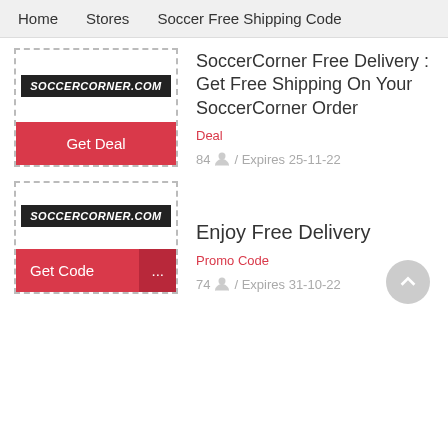Home   Stores   Soccer Free Shipping Code
[Figure (logo): SoccerCorner.com logo in black italic bold text on dark background]
SoccerCorner Free Delivery : Get Free Shipping On Your SoccerCorner Order
Deal
84 / Expires 25-11-22
[Figure (logo): SoccerCorner.com logo in black italic bold text on dark background]
Enjoy Free Delivery
Promo Code
74 / Expires 31-10-22